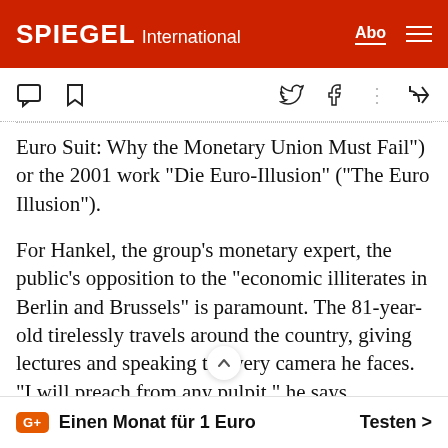SPIEGEL International
Euro Suit: Why the Monetary Union Must Fail") or the 2001 work "Die Euro-Illusion" ("The Euro Illusion").
For Hankel, the group's monetary expert, the public's opposition to the "economic illiterates in Berlin and Brussels" is paramount. The 81-year-old tirelessly travels around the country, giving lectures and speaking to every camera he faces. "I will preach from any pulpit," he says.
His sermons are directed against former German
Einen Monat für 1 Euro   Testen >